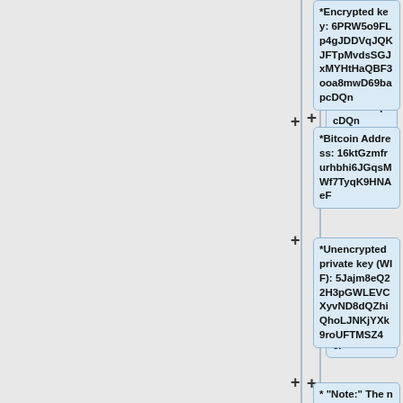*Encrypted key: 6PRW5o9FLp4gJDDVqJQKJFTpMvdsSGJxMYHtHaQBF3ooa8mwD69bapcDQn
*Bitcoin Address: 16ktGzmfrurhbhi6JGqsMWf7TyqK9HNAeF
*Unencrypted private key (WIF): 5Jajm8eQ22H3pGWLEVCXyvND8dQZhiQhoLJNKjYXk9roUFTMSZ4
* "Note:" The non-standard